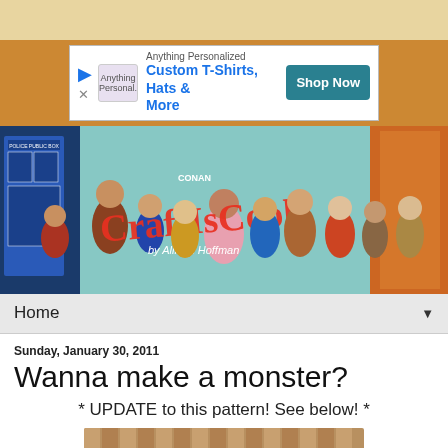[Figure (screenshot): Top tan/beige decorative bar at top of webpage]
[Figure (infographic): Advertisement banner: 'Anything Personalized – Custom T-Shirts, Hats & More' with Shop Now button]
[Figure (photo): Blog header image for 'CraftIsCool by Allison Hoffman' on CONAN, showing crochet figures of various characters with a woman in the center]
Home ▼
Sunday, January 30, 2011
Wanna make a monster?
* UPDATE to this pattern! See below! *
[Figure (photo): Partial photo of outdoor scene with wooden fence and green grass]